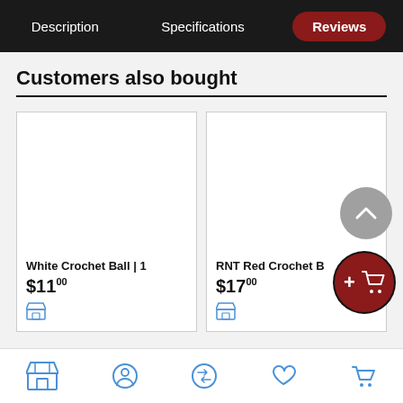Description | Specifications | Reviews
Customers also bought
[Figure (screenshot): Product card for White Crochet Ball | 1, priced at $11.00, with empty white image area and store icon at bottom]
[Figure (screenshot): Product card for RNT Red Crochet B..., priced at $17.00, with empty white image area]
[Figure (other): Gray circular scroll-up button with chevron icon]
[Figure (other): Dark red circular add-to-cart button with plus sign and shopping cart icon]
Bottom navigation bar with store, profile, shuffle, heart, and cart icons